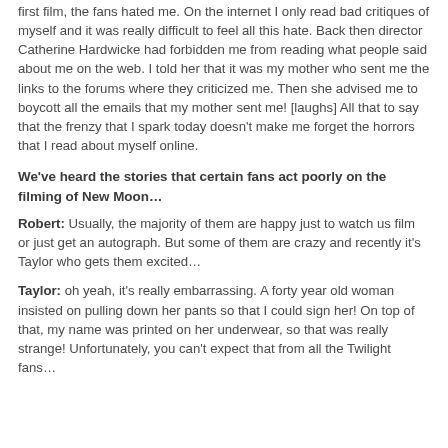first film, the fans hated me. On the internet I only read bad critiques of myself and it was really difficult to feel all this hate. Back then director Catherine Hardwicke had forbidden me from reading what people said about me on the web. I told her that it was my mother who sent me the links to the forums where they criticized me. Then she advised me to boycott all the emails that my mother sent me! [laughs] All that to say that the frenzy that I spark today doesn't make me forget the horrors that I read about myself online.
We've heard the stories that certain fans act poorly on the filming of New Moon…
Robert: Usually, the majority of them are happy just to watch us film or just get an autograph. But some of them are crazy and recently it's Taylor who gets them excited…
Taylor: oh yeah, it's really embarrassing. A forty year old woman insisted on pulling down her pants so that I could sign her! On top of that, my name was printed on her underwear, so that was really strange! Unfortunately, you can't expect that from all the Twilight fans…